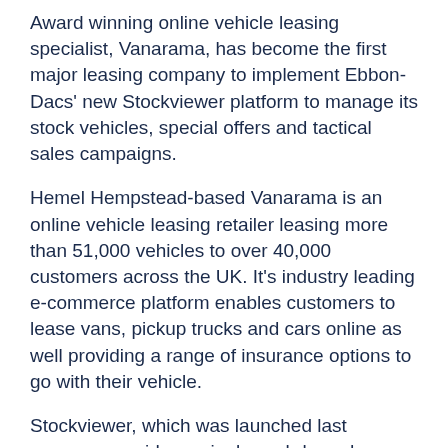Award winning online vehicle leasing specialist, Vanarama, has become the first major leasing company to implement Ebbon-Dacs' new Stockviewer platform to manage its stock vehicles, special offers and tactical sales campaigns.
Hemel Hempstead-based Vanarama is an online vehicle leasing retailer leasing more than 51,000 vehicles to over 40,000 customers across the UK. It's industry leading e-commerce platform enables customers to lease vans, pickup trucks and cars online as well providing a range of insurance options to go with their vehicle.
Stockviewer, which was launched last summer, provides a single, web-based technology platform to upload, manage and ultimately sell large numbers of stock and campaign vehicles, and is aimed at an audience of leasing companies, leasing brokers, dealers and vehicle manufacturers.